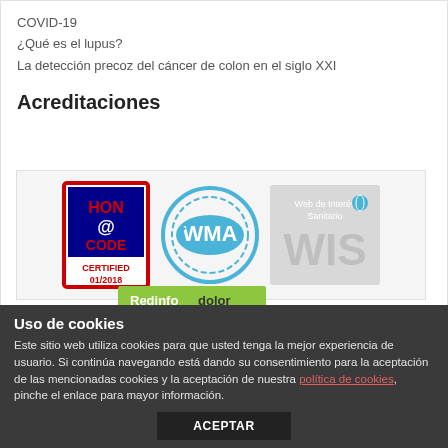COVID-19
¿Qué es el lupus?
La detección precoz del cáncer de colon en el siglo XXI
Acreditaciones
[Figure (logo): HON Code Certified 01/2018 badge - red border square with HON@CODE text and CERTIFIED 01/2018]
[Figure (logo): WMA circular stamp logo in blue]
[Figure (logo): Web de Interés Sanitario WIS badge in grey]
[Figure (logo): Redinfodolor green logo banner (partially visible)]
Uso de cookies
Este sitio web utiliza cookies para que usted tenga la mejor experiencia de usuario. Si continúa navegando está dando su consentimiento para la aceptación de las mencionadas cookies y la aceptación de nuestra política de cookies, pinche el enlace para mayor información.
ACEPTAR